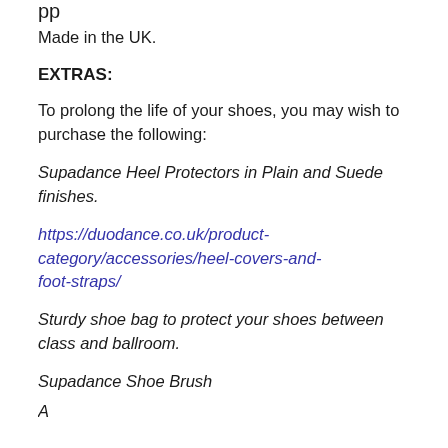Made in the UK.
EXTRAS:
To prolong the life of your shoes, you may wish to purchase the following:
Supadance Heel Protectors in Plain and Suede finishes.
https://duodance.co.uk/product-category/accessories/heel-covers-and-foot-straps/
Sturdy shoe bag to protect your shoes between class and ballroom.
Supadance Shoe Brush